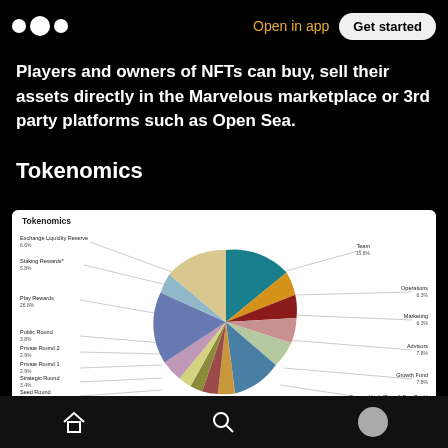Open in app | Get started
Players and owners of NFTs can buy, sell their assets directly in the Marvelous marketplace or 3rd party platforms such as Open Sea.
Tokenomics
[Figure (pie-chart): Tokenomics]
Home | Search | Profile